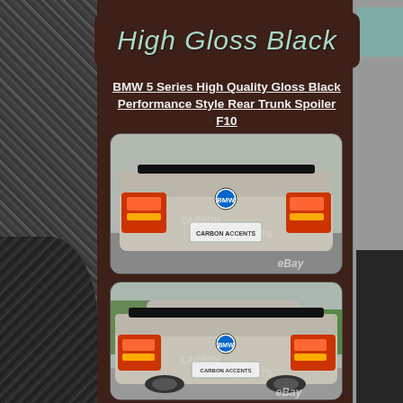High Gloss Black
BMW 5 Series High Quality Gloss Black Performance Style Rear Trunk Spoiler F10
[Figure (photo): Rear view of a silver BMW 5 Series F10 with a black trunk spoiler installed, showing taillights and license plate reading CARBON ACCENTS, with eBay watermark]
[Figure (photo): Rear three-quarter view of a silver BMW 5 Series F10 with a black trunk spoiler installed, showing taillights and license plate reading CARBON ACCENTS, with eBay watermark]